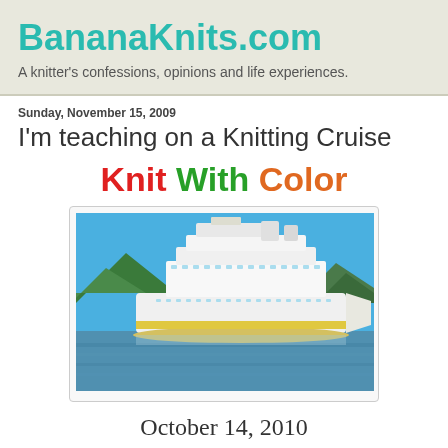BananaKnits.com
A knitter's confessions, opinions and life experiences.
Sunday, November 15, 2009
I'm teaching on a Knitting Cruise
Knit With Color
[Figure (photo): A large white cruise ship sailing on blue water with green mountains in the background under a blue sky.]
October 14, 2010